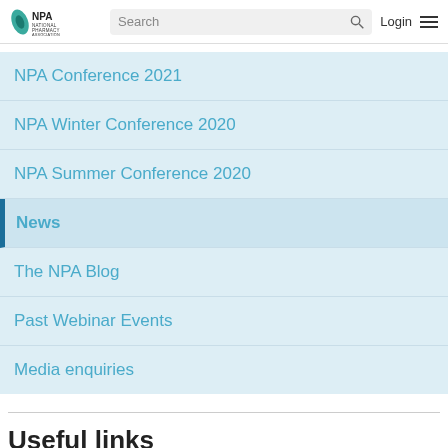[Figure (logo): NPA National Pharmacy Association logo with search bar, Login, and hamburger menu]
NPA Conference 2021
NPA Winter Conference 2020
NPA Summer Conference 2020
News
The NPA Blog
Past Webinar Events
Media enquiries
Useful links
About Us